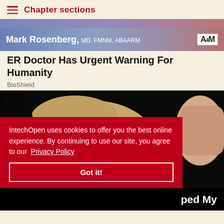Chapter sections
[Figure (photo): Advertisement banner showing Mark Rosenberg, MD, FMNM, ABAARM with A4M logo]
ER Doctor Has Urgent Warning For Humanity
BioShield
[Figure (photo): Close-up photo of a yellow Labrador dog sniffing or being hand-fed, against a black background]
IntechOpen uses cookies to offer you the best online experience. By continuing to use our site, you agree to our Privacy Policy
Got it!
ped My